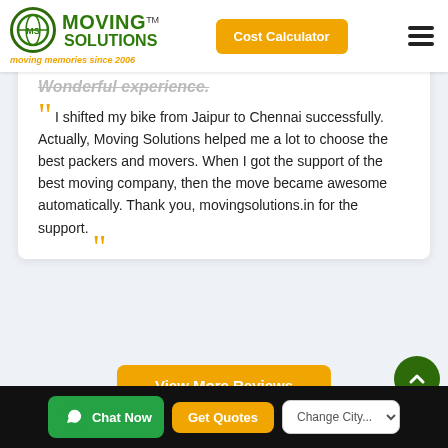[Figure (logo): Moving Solutions logo with globe icon and tagline 'moving memories since 2006']
Cost Calculator
Wonderful experience.
I shifted my bike from Jaipur to Chennai successfully. Actually, Moving Solutions helped me a lot to choose the best packers and movers. When I got the support of the best moving company, then the move became awesome automatically. Thank you, movingsolutions.in for the support.
View More Reviews
Chat Now
Get Quotes
Change City...